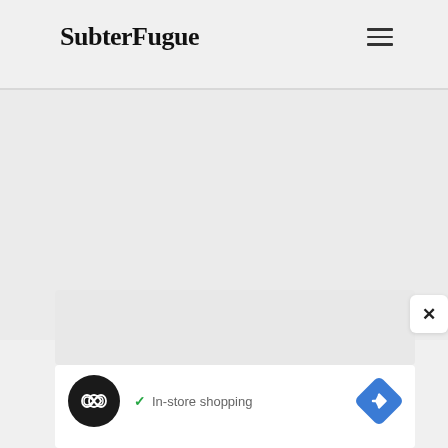SubterFugue
[Figure (screenshot): Gray empty content area below the header]
[Figure (screenshot): Advertisement card with black circular logo showing infinity/loop symbol, checkmark with 'In-store shopping' text, and blue diamond navigation icon. Ad disclosure play and X icons in teal/cyan color at bottom left.]
In-store shopping